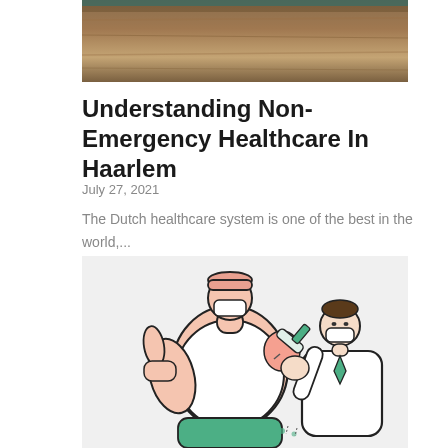[Figure (photo): Top portion of a photo showing a wooden surface or desk, partially cropped]
Understanding Non-Emergency Healthcare In Haarlem
July 27, 2021
The Dutch healthcare system is one of the best in the world,...
[Figure (illustration): Cartoon illustration of a doctor in a white coat and green tie administering a vaccine injection to a large patient wearing a mask and giving a thumbs up, both figures shown in a simple line-art style with pink and green colors]